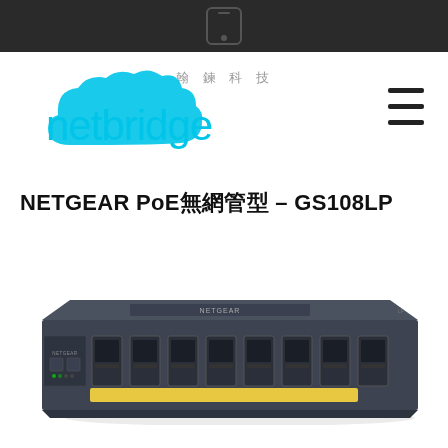[Figure (logo): Dark top navigation bar with a mobile app icon (camera/document icon)]
[Figure (logo): Netbridge logo with cyan cloud graphic and Chinese characters 翰鍊科技 above, plus hamburger menu icon on right]
NETGEAR PoE 無網管型 – GS108LP
[Figure (photo): NETGEAR GS108LP 8-port PoE unmanaged switch, dark gray metal housing with 8 RJ45 ports on front, yellow PoE indicator strip, NETGEAR branding on top]